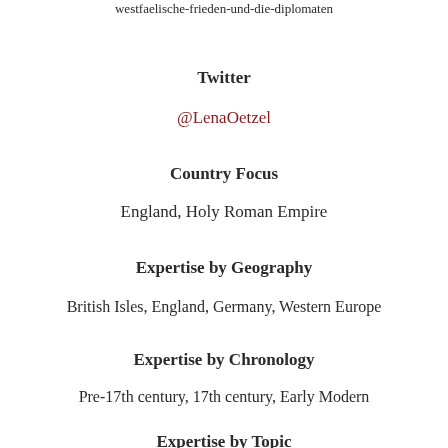westfaelische-frieden-und-die-diplomaten
Twitter
@LenaOetzel
Country Focus
England, Holy Roman Empire
Expertise by Geography
British Isles, England, Germany, Western Europe
Expertise by Chronology
Pre-17th century, 17th century, Early Modern
Expertise by Topic